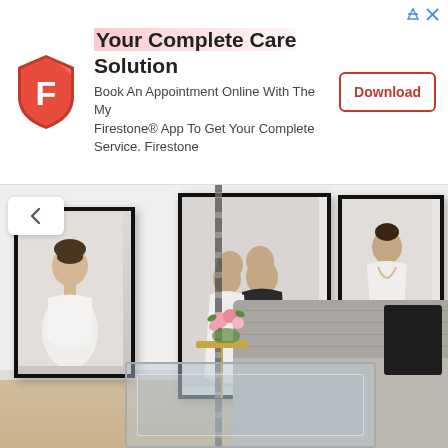[Figure (infographic): Firestone advertisement banner: logo (red shield with F), title 'Your Complete Care Solution', body text 'Book An Appointment Online With The My Firestone® App To Get Your Complete Service. Firestone', and a Download button with red border. Top-right has ad icons (arrow and X).]
[Figure (photo): Interior room photo showing a white wall with three framed wedding/portrait photographs hanging on it, a chain hanging in the center, a gray tufted sofa with a black pillow on the right, a gold side table with pink flowers, and a glass/mirrored coffee table in the foreground. Wood floor visible at the bottom.]